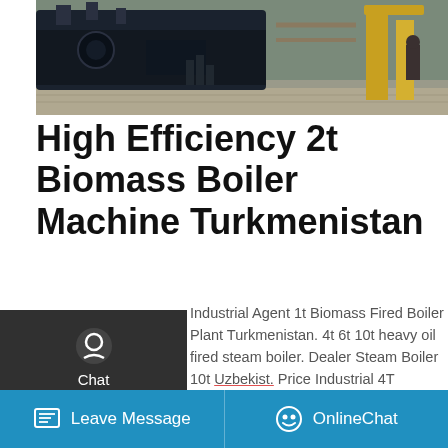[Figure (photo): Industrial boiler machine/equipment in a factory or warehouse setting, showing large dark machinery with yellow components]
High Efficiency 2t Biomass Boiler Machine Turkmenistan
Industrial Agent 1t Biomass Fired Boiler Plant Turkmenistan. 4t 6t 10t heavy oil fired steam boiler. Dealer Steam Boiler 10t Uzbekist… Price Industrial 4T Natural Gas Fired Boiler Nepal. 2t hr natural gas boilers. 2t/h China Coal Fired Boiler for coating plant … palm shell wood pellet steam generator hot water boiler. 1… h coal-fuel steam boiler Ghana Steam Boilers 1t 2t 4t 6t …
[Figure (screenshot): Left sidebar overlay with dark background showing Chat, Email, and Contact options with icons]
[Figure (infographic): Get a Quote button in yellow, and Save Stickers on WhatsApp banner with phone and emoji icons in purple/pink/orange gradient]
Leave Message   OnlineChat